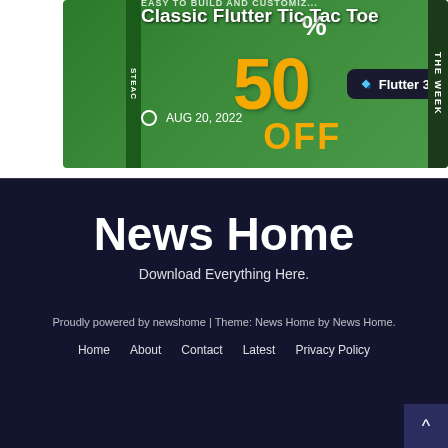[Figure (screenshot): Screenshot of a course card for 'Classic Flutter Tic Tac Toe' with a green background showing 50% OFF promotional banner, Flutter 3 compatibility badge, and date AUG 20, 2022]
News Home
Download Everything Here.
Proudly powered by newshome | Theme: News Home by News Home.
Home
About
Contact
Latest
Privacy Policy